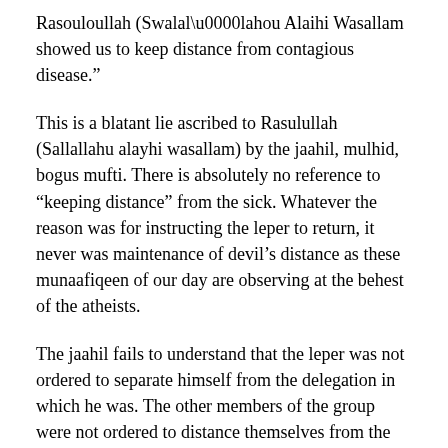Rasouloullah (Swalal lahou Alaihi Wasallam showed us to keep distance from contagious disease.”
This is a blatant lie ascribed to Rasulullah (Sallallahu alayhi wasallam) by the jaahil, mulhid, bogus mufti. There is absolutely no reference to “keeping distance” from the sick. Whatever the reason was for instructing the leper to return, it never was maintenance of devil’s distance as these munaafiqeen of our day are observing at the behest of the atheists.
The jaahil fails to understand that the leper was not ordered to separate himself from the delegation in which he was. The other members of the group were not ordered to distance themselves from the leper. The leper was not ordered to go into quarantine, The people of Thaqeef were not ordered to adopt devil’s distance from the leper. The leper was not prevented from the Musjid. The leper was not isolated in any way whatsoever. He was